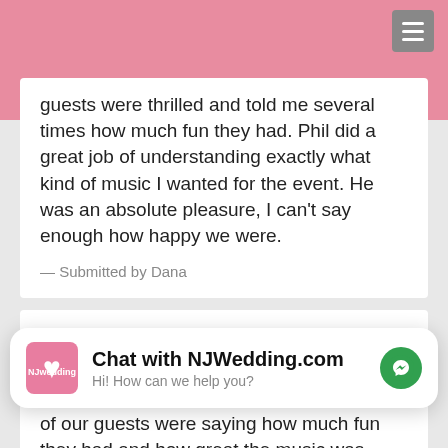throughout the night to make sure we were happy and having a great time. My guests were thrilled and told me several times how much fun they had. Phil did a great job of understanding exactly what kind of music I wanted for the event. He was an absolute pleasure, I can't say enough how happy we were.
— Submitted by Dana
[Figure (other): Five yellow star rating icons]
made our special day perfect
Dominic Sestito was absolutely
of our guests were saying how much fun they had and how great the music was.
[Figure (screenshot): Chat widget popup: NJWedding.com logo (pink heart), 'Chat with NJWedding.com', 'Hi! How can we help you?', green Facebook Messenger icon button]